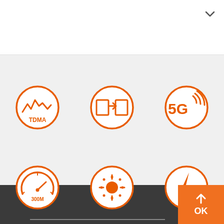[Figure (infographic): Screenshot of a product feature page showing 6 circular orange icons: TDMA (waveform), content sync/transfer, 5G, 300M speedometer, sunburst/light, and lightning bolt. Bottom right has an orange OK button with an upload arrow. A chevron/down arrow appears top right on white area.]